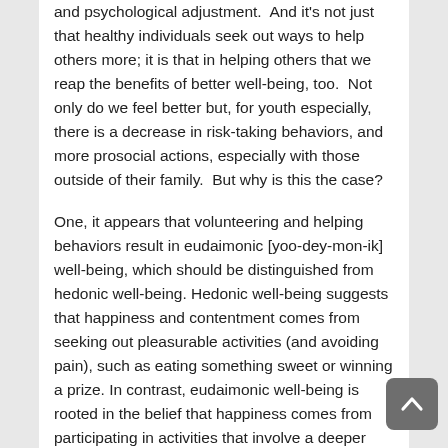and psychological adjustment.  And it's not just that healthy individuals seek out ways to help others more; it is that in helping others that we reap the benefits of better well-being, too.  Not only do we feel better but, for youth especially, there is a decrease in risk-taking behaviors, and more prosocial actions, especially with those outside of their family.  But why is this the case?
One, it appears that volunteering and helping behaviors result in eudaimonic [yoo-dey-mon-ik] well-being, which should be distinguished from hedonic well-being. Hedonic well-being suggests that happiness and contentment comes from seeking out pleasurable activities (and avoiding pain), such as eating something sweet or winning a prize. In contrast, eudaimonic well-being is rooted in the belief that happiness comes from participating in activities that involve a deeper purpose or meaning. Hedonic activities can lead us